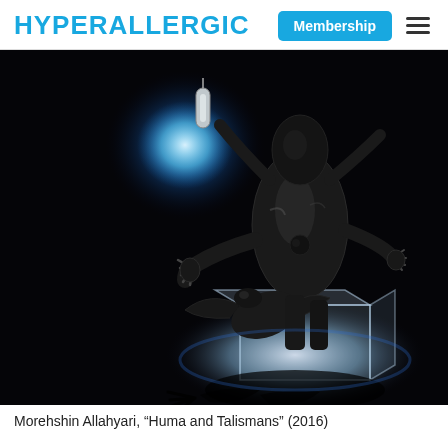HYPERALLERGIC
[Figure (photo): A 3D-printed sculpture of a multi-armed figure standing on a clear acrylic box, dramatically lit against a dark background with a blue circular light and a suspended capsule object above. The figure has multiple arms and skeletal/organic features. Shadows are cast on the floor below.]
Morehshin Allahyari, “Huma and Talismans” (2016)